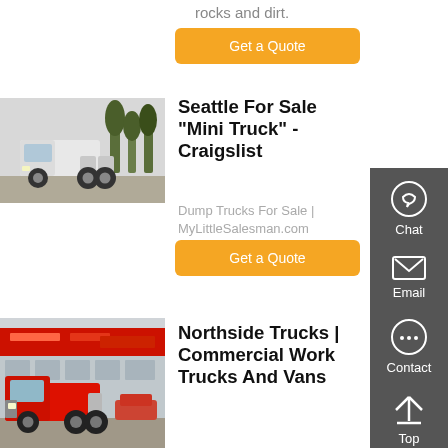rocks and dirt.
Get a Quote
[Figure (photo): White semi truck / tractor unit parked outdoors near trees]
Seattle For Sale "Mini Truck" - Craigslist
Dump Trucks For Sale | MyLittleSalesman.com
Get a Quote
[Figure (photo): Red heavy-duty truck (HOWO) parked in front of a commercial building with red signage]
Northside Trucks | Commercial Work Trucks And Vans